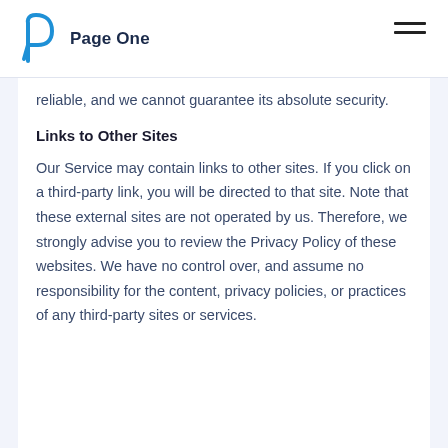Page One
reliable, and we cannot guarantee its absolute security.
Links to Other Sites
Our Service may contain links to other sites. If you click on a third-party link, you will be directed to that site. Note that these external sites are not operated by us. Therefore, we strongly advise you to review the Privacy Policy of these websites. We have no control over, and assume no responsibility for the content, privacy policies, or practices of any third-party sites or services.